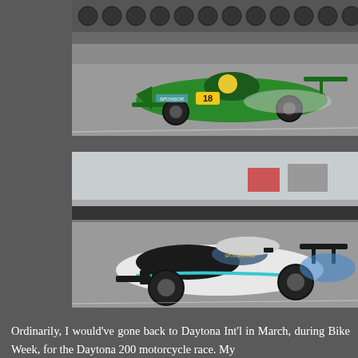[Figure (photo): A green open-wheel prototype race car numbered 18 on a race track, taken from a low angle as it navigates a corner. The car has a green and silver livery.]
[Figure (photo): A white and black McLaren GT race car with blue accents numbered 18 on a race track. The car is a closed-cockpit GT style vehicle at Daytona International Speedway.]
Ordinarily, I would've gone back to Daytona Int'l in March, during Bike Week, for the Daytona 200 motorcycle race. My